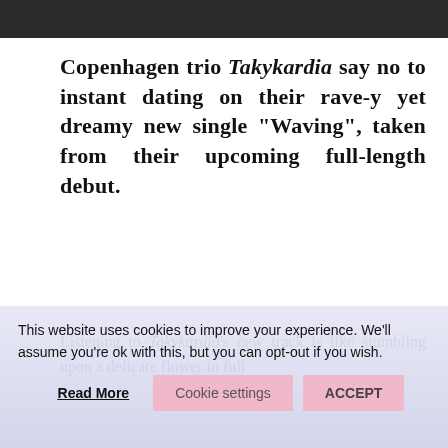[Figure (photo): Dark photograph strip at top of page, partially visible]
Copenhagen trio Takykardia say no to instant dating on their rave-y yet dreamy new single “Waving”, taken from their upcoming full-length debut.
Listening to Takykardia’s new track is like stumbling upon a delicate flower in full
This website uses cookies to improve your experience. We’ll assume you’re ok with this, but you can opt-out if you wish. Read More Cookie settings ACCEPT